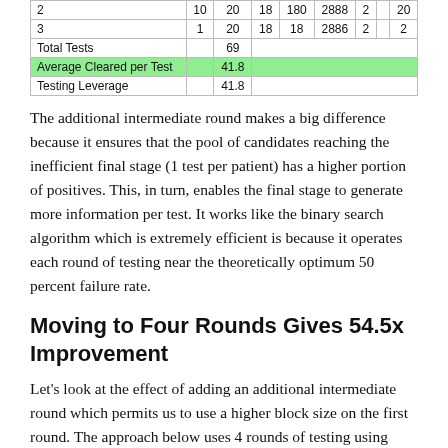| 2 | 10 | 20 | 18 | 180 | 2888 | 2 |  | 20 |
| 3 | 1 | 20 | 18 | 18 | 2886 | 2 |  | 2 |
| Total Tests |  | 69 |  |  |  |  |  |  |
| Average Cleared per Test |  | 41.8 |  |  |  |  |  |  |
| Testing Leverage |  | 41.8 |  |  |  |  |  |  |
The additional intermediate round makes a big difference because it ensures that the pool of candidates reaching the inefficient final stage (1 test per patient) has a higher portion of positives. This, in turn, enables the final stage to generate more information per test. It works like the binary search algorithm which is extremely efficient is because it operates each round of testing near the theoretically optimum 50 percent failure rate.
Moving to Four Rounds Gives 54.5x Improvement
Let's look at the effect of adding an additional intermediate round which permits us to use a higher block size on the first round. The approach below uses 4 rounds of testing using